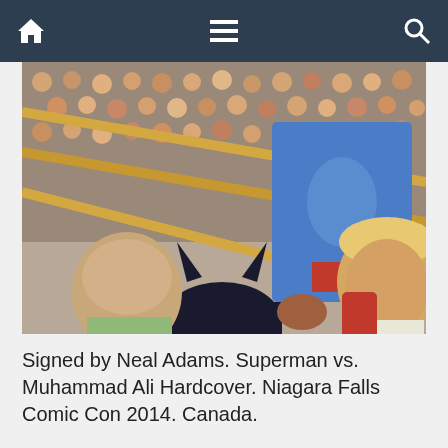Navigation bar with home, menu, and search icons
[Figure (photo): Comic book cover art showing Superman vs. Muhammad Ali boxing scene. Superman in blue costume is visible from behind ropes, Batman cowl visible in foreground, a bald man and a blond smiling man visible among crowd watching the boxing match. Crowd of faces fills the background.]
Signed by Neal Adams. Superman vs. Muhammad Ali Hardcover.  Niagara Falls Comic Con 2014. Canada.
[Figure (photo): Partial view of what appears to be a dark book or hardcover item on a light background.]